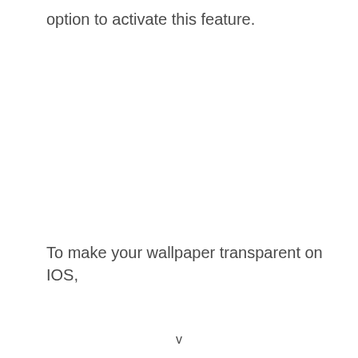option to activate this feature.
To make your wallpaper transparent on IOS,
v